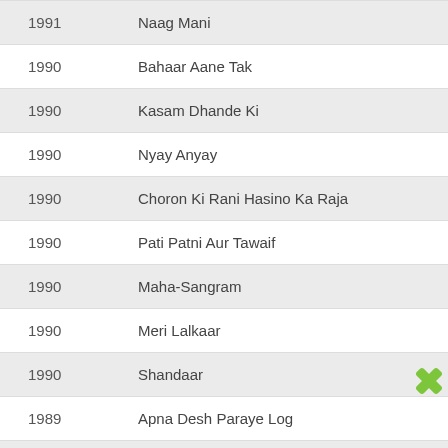| Year | Title |
| --- | --- |
| 1991 | Naag Mani |
| 1990 | Bahaar Aane Tak |
| 1990 | Kasam Dhande Ki |
| 1990 | Nyay Anyay |
| 1990 | Choron Ki Rani Hasino Ka Raja |
| 1990 | Pati Patni Aur Tawaif |
| 1990 | Maha-Sangram |
| 1990 | Meri Lalkaar |
| 1990 | Shandaar |
| 1989 | Apna Desh Paraye Log |
| 1989 | Sindoor Aur Bandook |